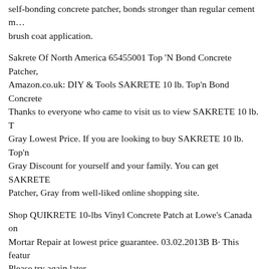self-bonding concrete patcher, bonds stronger than regular cement m… brush coat application.
Sakrete Of North America 65455001 Top 'N Bond Concrete Patcher, Amazon.co.uk: DIY & Tools SAKRETE 10 lb. Top'n Bond Concrete… Thanks to everyone who came to visit us to view SAKRETE 10 lb. T… Gray Lowest Price. If you are looking to buy SAKRETE 10 lb. Top'n… Gray Discount for yourself and your family. You can get SAKRETE… Patcher, Gray from well-liked online shopping site.
Shop QUIKRETE 10-lbs Vinyl Concrete Patch at Lowe's Canada on… Mortar Repair at lowest price guarantee. 03.02.2013B B· This featur… Please try again later.
SAKRETE 10 lb. Top'n Bond Concrete Patcher, Gray Online. Thank… visit us to view SAKRETE 10 lb. Top'n Bond Concrete Patcher, Gray… looking to buy SAKRETE 10 lb. Top'n Bond Concrete Patcher, Gray… your family. You can get SAKRETE 10 lb. Top'n Bond Concrete Pate… online shopping site. Sakrete's Reputation Score Is 100%, Which Is R… the overall reputation rank (from 0 to 100%) for a given company, b…